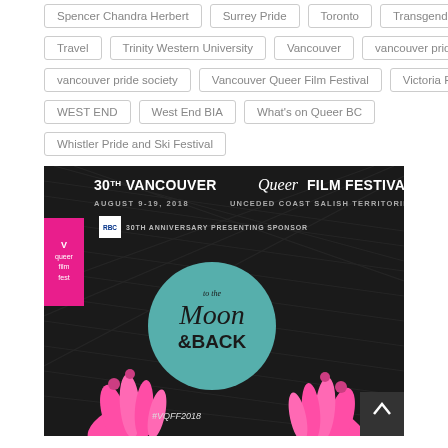Spencer Chandra Herbert
Surrey Pride
Toronto
Transgender
Travel
Trinity Western University
Vancouver
vancouver pride
vancouver pride society
Vancouver Queer Film Festival
Victoria Pride
WEST END
West End BIA
What's on Queer BC
Whistler Pride and Ski Festival
[Figure (photo): 30th Vancouver Queer Film Festival promotional poster. Dark background with pink hands reaching up toward a teal circle. Text reads: 30th Vancouver Queer Film Festival, August 9-19 2018, Unceded Coast Salish Territories, 30th Anniversary Presenting Sponsor, To the Moon & Back, #VQFF2018. Pink box on left with VQFF logo.]